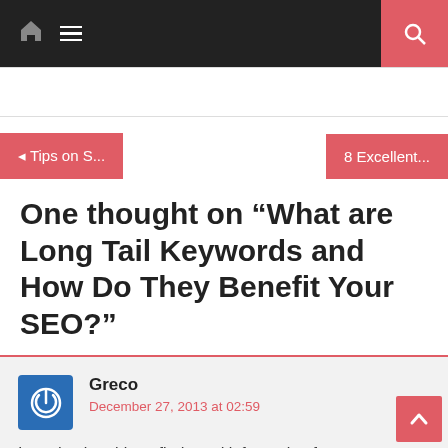Navigation bar with home, menu, and search icons
◄ Tips on S...
8 Excellent...
One thought on “What are Long Tail Keywords and How Do They Benefit Your SEO?”
Greco
December 27, 2013 at 02:59
I used to be able to find good information from your articles.